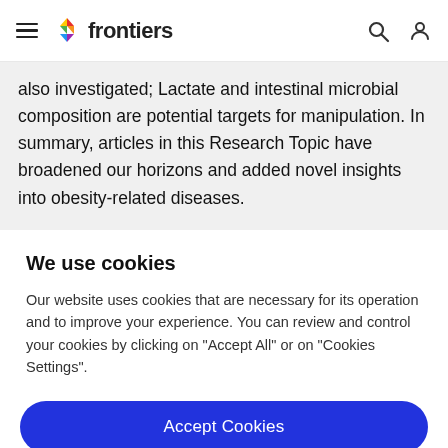frontiers
also investigated; Lactate and intestinal microbial composition are potential targets for manipulation. In summary, articles in this Research Topic have broadened our horizons and added novel insights into obesity-related diseases.
We use cookies
Our website uses cookies that are necessary for its operation and to improve your experience. You can review and control your cookies by clicking on "Accept All" or on "Cookies Settings".
Accept Cookies
Cookies Settings